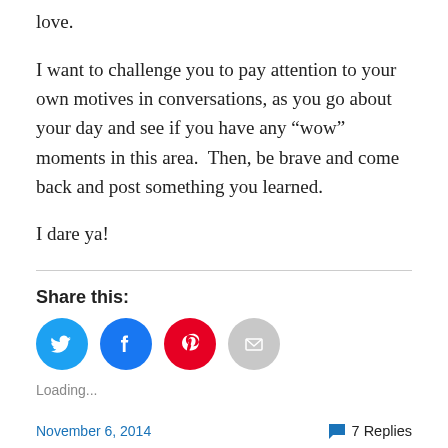love.
I want to challenge you to pay attention to your own motives in conversations, as you go about your day and see if you have any “wow” moments in this area.  Then, be brave and come back and post something you learned.
I dare ya!
Share this:
[Figure (infographic): Four social sharing icon buttons: Twitter (blue bird), Facebook (blue f), Pinterest (red P), Email (gray envelope)]
Loading...
November 6, 2014   7 Replies